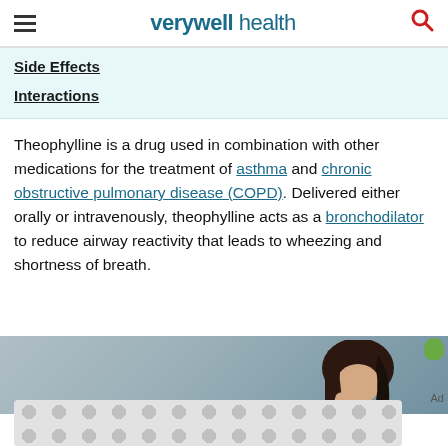verywell health
Side Effects
Interactions
Theophylline is a drug used in combination with other medications for the treatment of asthma and chronic obstructive pulmonary disease (COPD). Delivered either orally or intravenously, theophylline acts as a bronchodilator to reduce airway reactivity that leads to wheezing and shortness of breath.
[Figure (photo): Photo of a woman holding her head in distress, partially visible at the bottom of the page, with an advertisement bar below]